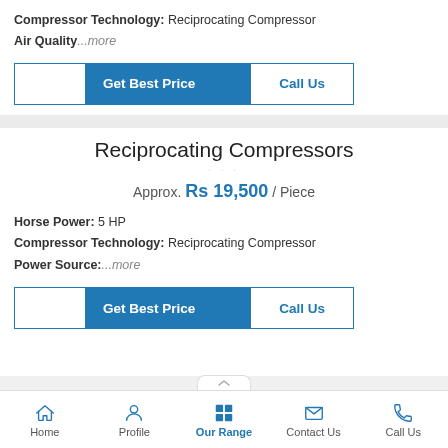Compressor Technology: Reciprocating Compressor
Air Quality...more
[Figure (screenshot): Two buttons: 'Get Best Price' (blue) and 'Call Us' (white with blue text), side by side in a bordered row]
Reciprocating Compressors
Approx. Rs 19,500 / Piece
Horse Power: 5 HP
Compressor Technology: Reciprocating Compressor
Power Source:...more
[Figure (screenshot): Two buttons: 'Get Best Price' (blue) and 'Call Us' (white with blue text), side by side in a bordered row]
Home   Profile   Our Range   Contact Us   Call Us